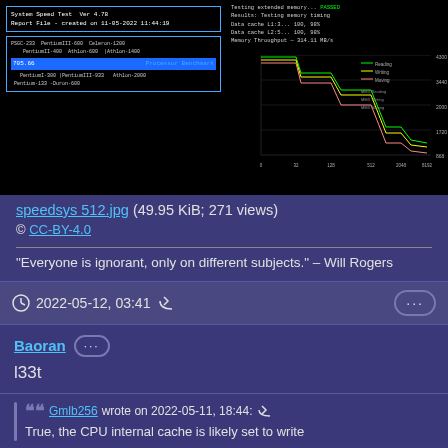[Figure (screenshot): System Speed Test Ver 4.78 screenshot showing benchmark results with processor comparison chart and memory throughput graph on black background]
speedsys 512.jpg (49.95 KiB; 271 views)
© CC-BY-4.0
"Everyone is ignorant, only on different subjects." – Will Rogers
2022-05-12, 03:41
Baoran
l33t
Gmlb256 wrote on 2022-05-11, 18:44:
True, the CPU internal cache is likely set to write